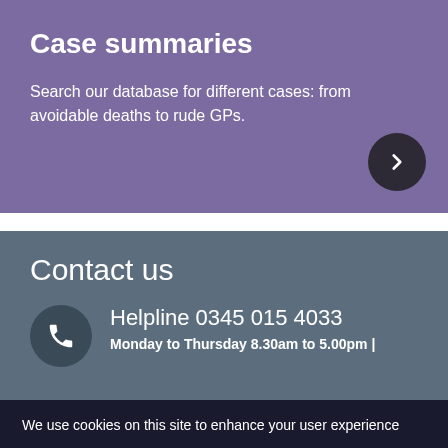Case summaries
Search our database for different cases: from avoidable deaths to rude GPs.
Contact us
Helpline 0345 015 4033
Monday to Thursday 8.30am to 5.00pm |
We use cookies on this site to enhance your user experience